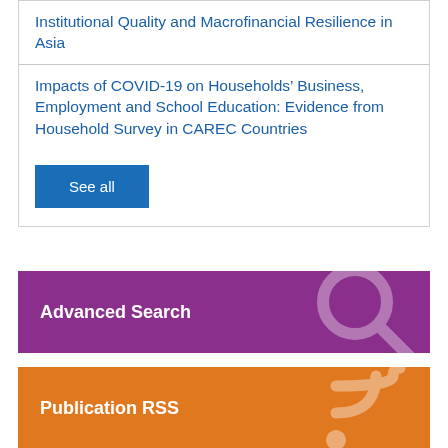Institutional Quality and Macrofinancial Resilience in Asia
Impacts of COVID-19 on Households' Business, Employment and School Education: Evidence from Household Survey in CAREC Countries
See all
Advanced Search
Publication RSS